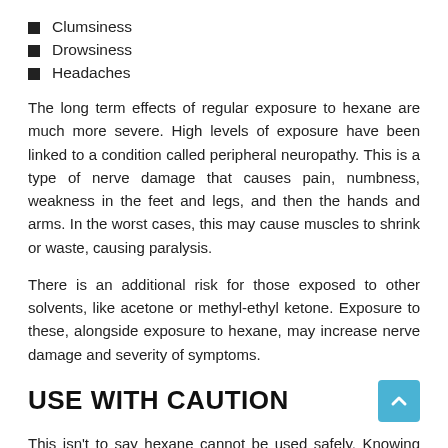Clumsiness
Drowsiness
Headaches
The long term effects of regular exposure to hexane are much more severe. High levels of exposure have been linked to a condition called peripheral neuropathy. This is a type of nerve damage that causes pain, numbness, weakness in the feet and legs, and then the hands and arms. In the worst cases, this may cause muscles to shrink or waste, causing paralysis.
There is an additional risk for those exposed to other solvents, like acetone or methyl-ethyl ketone. Exposure to these, alongside exposure to hexane, may increase nerve damage and severity of symptoms.
USE WITH CAUTION
This isn't to say hexane cannot be used safely. Knowing the